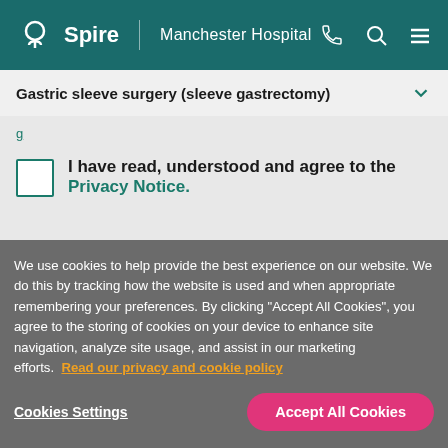Spire | Manchester Hospital
Gastric sleeve surgery (sleeve gastrectomy)
I have read, understood and agree to the Privacy Notice.
We use cookies to help provide the best experience on our website. We do this by tracking how the website is used and when appropriate remembering your preferences. By clicking "Accept All Cookies", you agree to the storing of cookies on your device to enhance site navigation, analyze site usage, and assist in our marketing efforts. Read our privacy and cookie policy
Cookies Settings
Accept All Cookies